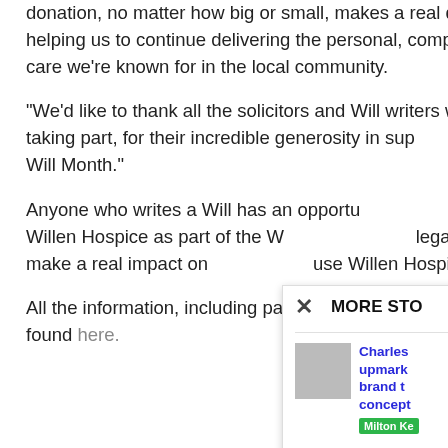donation, no matter how big or small, makes a real difference in helping us to continue delivering the personal, compassionate care we're known for in the local community.
“We’d like to thank all the solicitors and Will writers who are taking part, for their incredible generosity in supporting us during Will Month.”
Anyone who writes a Will has an opportunity to leave a legacy to Willen Hospice as part of the Will Month. Every legacy is used to make a real impact on people who use Willen Hospice services.
All the information, including participating solicitors details, can be found here.
MORE STORIES
Charles upmarket brand to concept
Milton Ke...
'You can happen...
Northamp...
17th Augu...